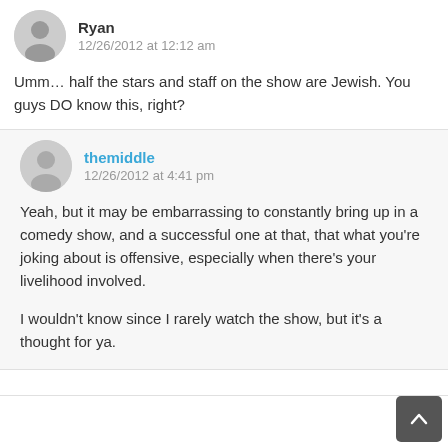Ryan
12/26/2012 at 12:12 am
Umm... half the stars and staff on the show are Jewish. You guys DO know this, right?
themiddle
12/26/2012 at 4:41 pm
Yeah, but it may be embarrassing to constantly bring up in a comedy show, and a successful one at that, that what you're joking about is offensive, especially when there's your livelihood involved.

I wouldn't know since I rarely watch the show, but it's a thought for ya.